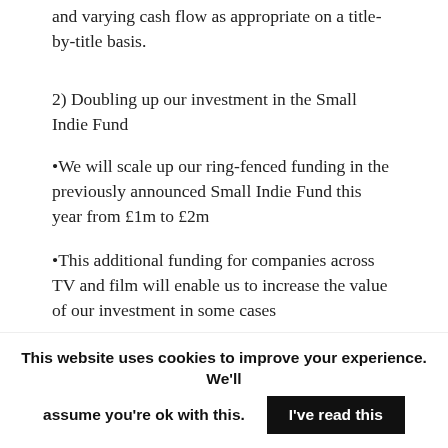and varying cash flow as appropriate on a title-by-title basis.
2) Doubling up our investment in the Small Indie Fund
•We will scale up our ring-fenced funding in the previously announced Small Indie Fund this year from £1m to £2m
•This additional funding for companies across TV and film will enable us to increase the value of our investment in some cases
This website uses cookies to improve your experience. We'll assume you're ok with this.  I've read this